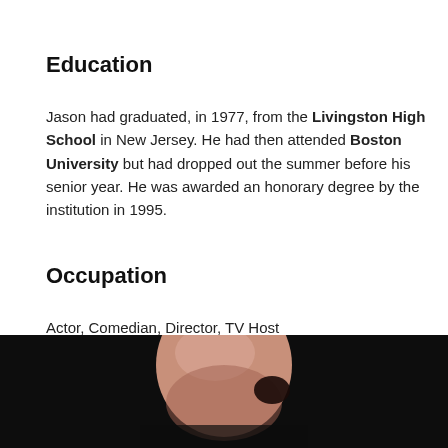Education
Jason had graduated, in 1977, from the Livingston High School in New Jersey. He had then attended Boston University but had dropped out the summer before his senior year. He was awarded an honorary degree by the institution in 1995.
Occupation
Actor, Comedian, Director, TV Host
[Figure (photo): Photo of a bald man against a dark background, showing the top of his head.]